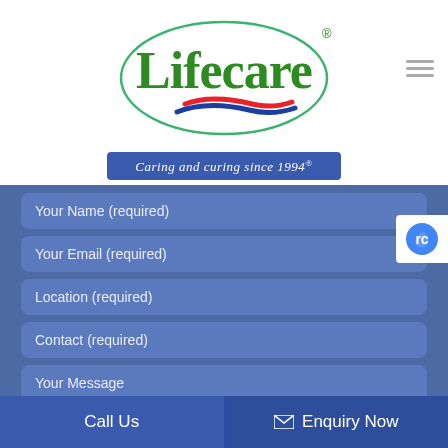[Figure (logo): Lifecare company logo - oval green border with 'Lifecare' in green text and red/blue swoosh, with registered trademark symbol]
Caring and curing since 1994®
Your Name (required)
Your Email (required)
Location (required)
Contact (required)
Your Message
Call Us   Enquiry Now